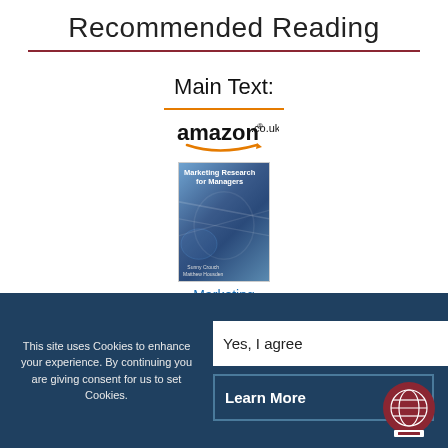Recommended Reading
Main Text:
[Figure (logo): Amazon.co.uk logo with orange smile arrow beneath an orange horizontal rule]
[Figure (photo): Book cover for 'Marketing Research for Managers' by Sunny Crouch and Matthew Housden, blue toned cover with abstract design]
Marketing
This site uses Cookies to enhance your experience. By continuing you are giving consent for us to set Cookies.
Yes, I agree
Learn More